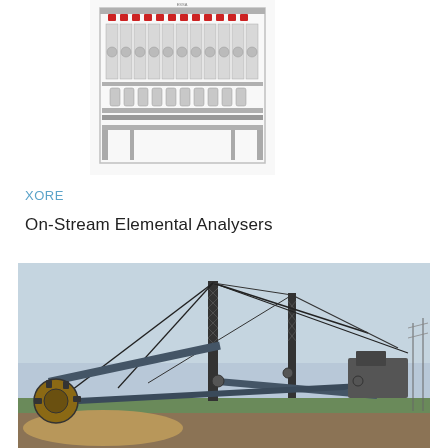[Figure (photo): Industrial analytical equipment rack with multiple modules, cylindrical components, red valves/connections, mounted in a metal frame structure]
XORE
On-Stream Elemental Analysers
[Figure (photo): Large bucket wheel excavator or mining crane machinery photographed against a grey sky, with complex lattice steel structures, cables, and conveyor systems in an open-pit mining setting]